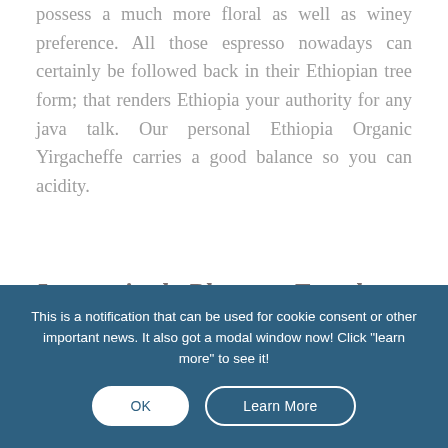possess a much more floral as well as winey preference. All those espresso nowadays can certainly be followed back in their Ethiopian tree form; that renders Ethiopia your authority for any java talk. Our personal Ethiopia Organic Yirgacheffe carries a good balance so you can acidity.
Interestingly Pleasant Together
This is a notification that can be used for cookie consent or other important news. It also got a modal window now! Click "learn more" to see it!